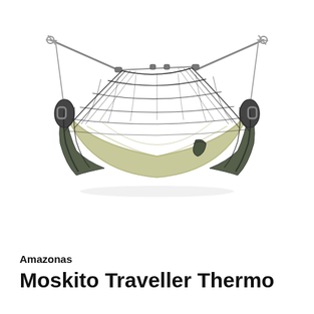[Figure (photo): A hammock with mosquito net suspended between two poles with metal fittings. The hammock body is light olive/khaki green fabric with dark olive/charcoal side panels and a dark mesh mosquito net draped over the top forming an enclosed sleeping chamber. The hammock is shown suspended against a white background.]
Amazonas
Moskito Traveller Thermo